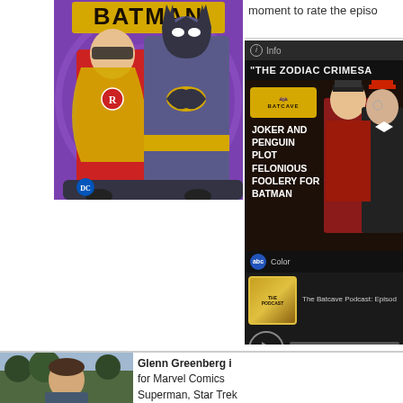moment to rate the episo
[Figure (photo): Batman TV show promotional image showing Batman and Robin in costume sitting in the Batmobile against a purple swirling background, with DC Comics logo]
[Figure (screenshot): Info panel showing 'The Zodiac Crimes' episode info with Batcave podcast logo, text reading 'JOKER AND PENGUIN PLOT FELONIOUS FOOLERY FOR BATMAN', ABC Color badge, podcast player with The Batcave Podcast episode, play button and 00:00:00 timestamp]
[Figure (photo): Photo of person named Glenn Greenberg, appears to be a headshot, outdoors]
Glenn Greenberg i for Marvel Comics Superman, Star Trel well as Web-based